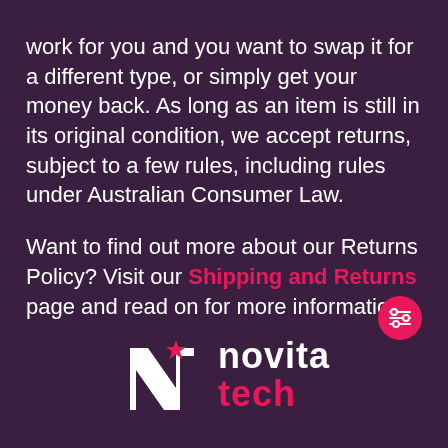work for you and you want to swap it for a different type, or simply get your money back. As long as an item is still in its original condition, we accept returns, subject to a few rules, including rules under Australian Consumer Law.
Want to find out more about our Returns Policy? Visit our Shipping and Returns page and read on for more information.
[Figure (other): Novita Tech logo with stylized N lettermark with a pink star, and the text 'novita tech' in white and pink]